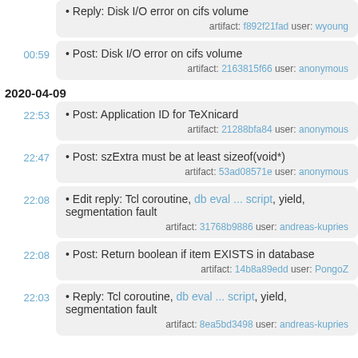• Reply: Disk I/O error on cifs volume
artifact: f892f21fad user: wyoung
00:59 • Post: Disk I/O error on cifs volume
artifact: 2163815f66 user: anonymous
2020-04-09
22:53 • Post: Application ID for TeXnicard
artifact: 21288bfa84 user: anonymous
22:47 • Post: szExtra must be at least sizeof(void*)
artifact: 53ad08571e user: anonymous
22:08 • Edit reply: Tcl coroutine, db eval ... script, yield, segmentation fault
artifact: 31768b9886 user: andreas-kupries
22:08 • Post: Return boolean if item EXISTS in database
artifact: 14b8a89edd user: PongoZ
22:03 • Reply: Tcl coroutine, db eval ... script, yield, segmentation fault
artifact: 8ea5bd3498 user: andreas-kupries